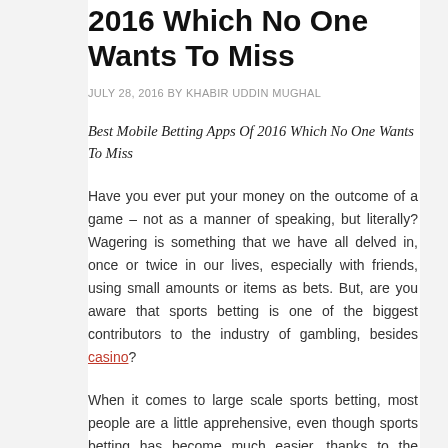2016 Which No One Wants To Miss
JULY 28, 2016 BY KHABIR UDDIN MUGHAL
Best Mobile Betting Apps Of 2016 Which No One Wants To Miss
Have you ever put your money on the outcome of a game – not as a manner of speaking, but literally? Wagering is something that we have all delved in, once or twice in our lives, especially with friends, using small amounts or items as bets. But, are you aware that sports betting is one of the biggest contributors to the industry of gambling, besides casino?
When it comes to large scale sports betting, most people are a little apprehensive, even though sports betting has become much easier, thanks to the internet. Their reasons are valid, of course; in many countries, gambling is illegal. Besides, it is hard to know whether the website or the app the wish to use is at all safe or not. It's a shame really, that such apprehensions should leave one unaware of the joys of betting, when the...